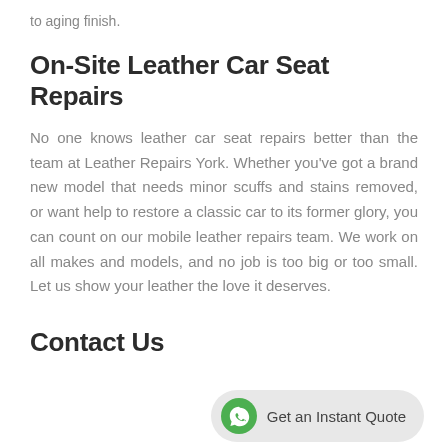to aging finish.
On-Site Leather Car Seat Repairs
No one knows leather car seat repairs better than the team at Leather Repairs York. Whether you've got a brand new model that needs minor scuffs and stains removed, or want help to restore a classic car to its former glory, you can count on our mobile leather repairs team. We work on all makes and models, and no job is too big or too small. Let us show your leather the love it deserves.
Contact Us
[Figure (other): WhatsApp-style button with icon and text 'Get an Instant Quote']